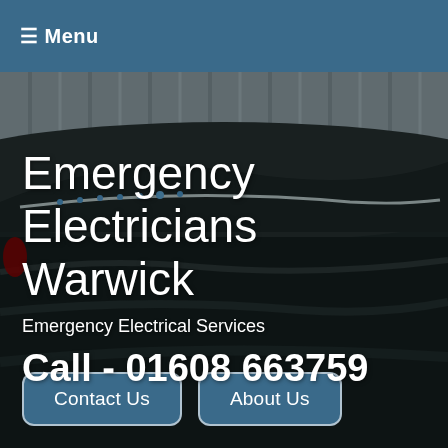☰ Menu
Emergency Electricians Warwick
Emergency Electrical Services
Call - 01608 663759
Contact Us
About Us